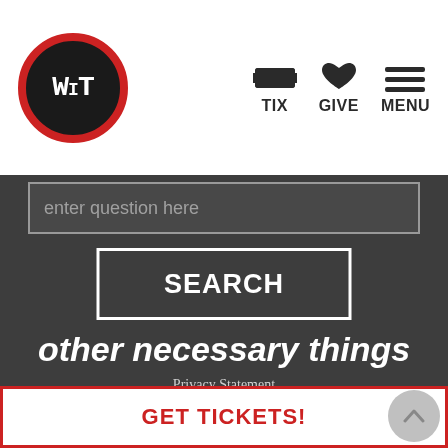[Figure (logo): WIT logo: black circle with red border, white letters W, I, T in bold monospace font]
TIX  GIVE  MENU
enter question here
SEARCH
other necessary things
Privacy Statement
Terms and Conditions
Frequently Asked Questions
Class Policies
Discrimination and Harassment Prevention Policy
GET TICKETS!